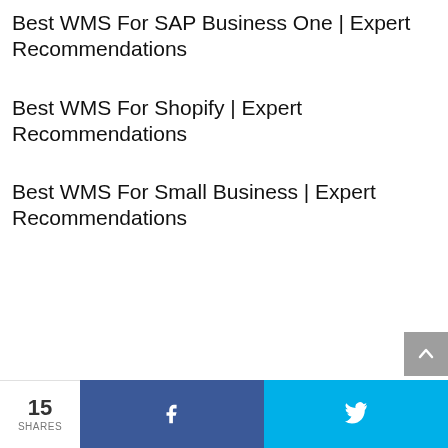Best WMS For SAP Business One | Expert Recommendations
Best WMS For Shopify | Expert Recommendations
Best WMS For Small Business | Expert Recommendations
15 SHARES  [Facebook share button]  [Twitter share button]